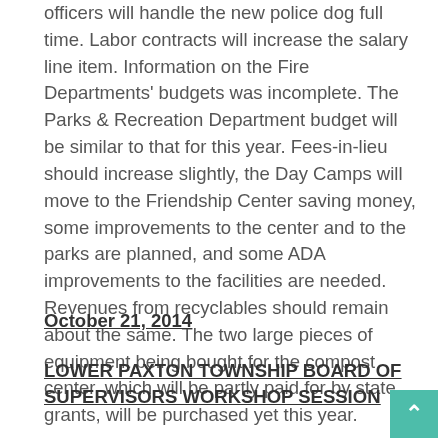officers will handle the new police dog full time. Labor contracts will increase the salary line item. Information on the Fire Departments' budgets was incomplete. The Parks & Recreation Department budget will be similar to that for this year. Fees-in-lieu should increase slightly, the Day Camps will move to the Friendship Center saving money, some improvements to the center and to the parks are planned, and some ADA improvements to the facilities are needed. Revenues from recyclables should remain about the same. The two large pieces of equipment being bought for the compost center, which will be partly paid for by state grants, will be purchased yet this year.
October 21, 2014
LOWER PAXTON TOWNSHIP BOARD OF SUPERVISORS WORKSHOP SESSION